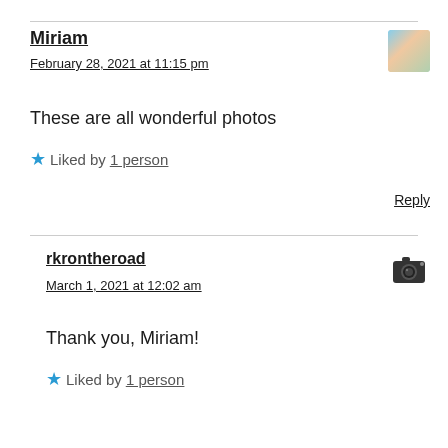Miriam
February 28, 2021 at 11:15 pm
[Figure (photo): Avatar photo of Miriam, a person in a hat outdoors]
These are all wonderful photos
Liked by 1 person
Reply
rkrontheroad
March 1, 2021 at 12:02 am
[Figure (illustration): Camera icon representing user avatar]
Thank you, Miriam!
Liked by 1 person